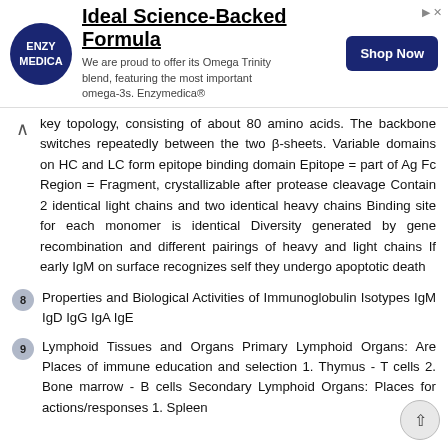[Figure (other): Advertisement banner for Enzymedica showing logo, title 'Ideal Science-Backed Formula', description text about Omega Trinity blend, and a 'Shop Now' button]
key topology, consisting of about 80 amino acids. The backbone switches repeatedly between the two β-sheets. Variable domains on HC and LC form epitope binding domain Epitope = part of Ag Fc Region = Fragment, crystallizable after protease cleavage Contain 2 identical light chains and two identical heavy chains Binding site for each monomer is identical Diversity generated by gene recombination and different pairings of heavy and light chains If early IgM on surface recognizes self they undergo apoptotic death
Properties and Biological Activities of Immunoglobulin Isotypes IgM IgD IgG IgA IgE
Lymphoid Tissues and Organs Primary Lymphoid Organs: Are Places of immune education and selection 1. Thymus - T cells 2. Bone marrow - B cells Secondary Lymphoid Organs: Places for actions/responses 1. Spleen